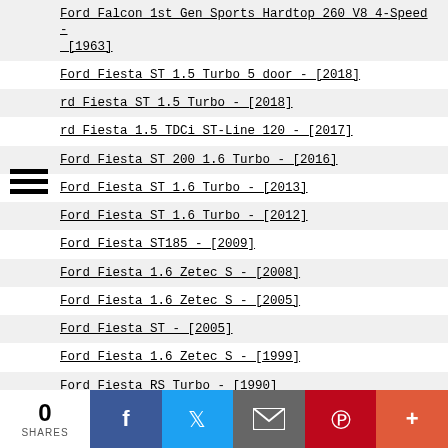Ford Falcon 1st Gen Sports Hardtop 260 V8 4-Speed - [1963]
Ford Fiesta ST 1.5 Turbo 5 door - [2018]
rd Fiesta ST 1.5 Turbo - [2018]
rd Fiesta 1.5 TDCi ST-Line 120 - [2017]
Ford Fiesta ST 200 1.6 Turbo - [2016]
Ford Fiesta ST 1.6 Turbo - [2013]
Ford Fiesta ST 1.6 Turbo - [2012]
Ford Fiesta ST185 - [2009]
Ford Fiesta 1.6 Zetec S - [2008]
Ford Fiesta 1.6 Zetec S - [2005]
Ford Fiesta ST - [2005]
Ford Fiesta 1.6 Zetec S - [1999]
Ford Fiesta RS Turbo - [1990]
Ford Fiesta XR2i - [1989]
Ford Fiesta XR2 - [1981]
Ford Fiesta XR2 - [1977]